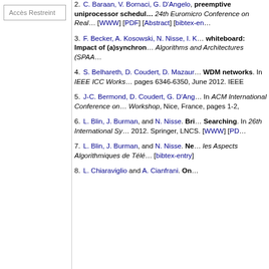Accès Restreint
2. C. Baraan, V. Bornaci, G. D'Angelo, ... preemptive uniprocessor schedul... 24th Euromicro Conference on Real... [WWW] [PDF] [Abstract] [bibtex-en...
3. F. Becker, A. Kosowski, N. Nisse, I. K... whiteboard: Impact of (a)synchron... Algorithms and Architectures (SPAA...
4. S. Belhareth, D. Coudert, D. Mazaur... WDM networks. In IEEE ICC Works... pages 6346-6350, June 2012. IEEE
5. J-C. Bermond, D. Coudert, G. D'Ang... In ACM International Conference on... Workshop, Nice, France, pages 1-2,
6. L. Blin, J. Burman, and N. Nisse. Bri... Searching. In 26th International Sy... 2012. Springer, LNCS. [WWW] [PD...
7. L. Blin, J. Burman, and N. Nisse. Ne... les Aspects Algorithmiques de Télé... [bibtex-entry]
8. L. Chiaraviglio and A. Cianfrani. On...